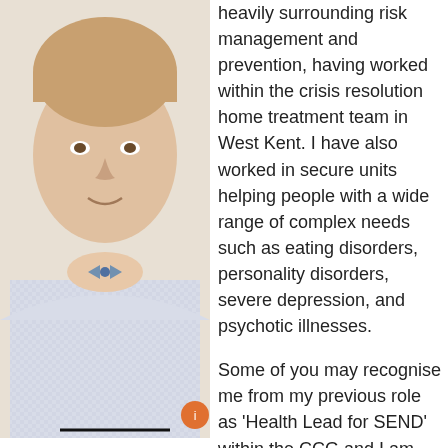[Figure (photo): Portrait photo of a man wearing a light blue checked shirt and a bow tie, shown from shoulders up, smiling slightly.]
heavily surrounding risk management and prevention, having worked within the crisis resolution home treatment team in West Kent. I have also worked in secure units helping people with a wide range of complex needs such as eating disorders, personality disorders, severe depression, and psychotic illnesses.
Some of you may recognise me from my previous role as 'Health Lead for SEND' within the CCG and I am excited to once again be working closely with colleagues from health, and education.
I look forward to continuing to build positive professional relationships and help to improve the services surrounding health